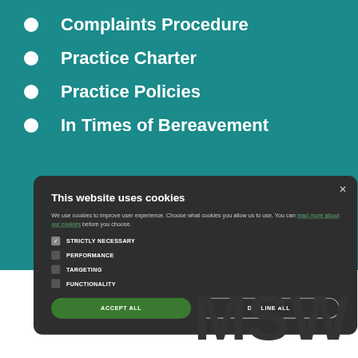Complaints Procedure
Practice Charter
Practice Policies
In Times of Bereavement
[Figure (screenshot): Cookie consent modal dialog with title 'This website uses cookies', body text about cookie usage, checkboxes for STRICTLY NECESSARY, PERFORMANCE, TARGETING, FUNCTIONALITY, and two buttons: ACCEPT ALL and DECLINE ALL]
MSW